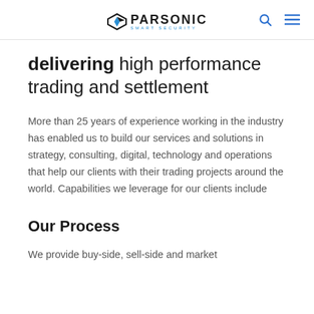PARSONIC SMART SECURITY
delivering high performance trading and settlement
More than 25 years of experience working in the industry has enabled us to build our services and solutions in strategy, consulting, digital, technology and operations that help our clients with their trading projects around the world. Capabilities we leverage for our clients include
Our Process
We provide buy-side, sell-side and market